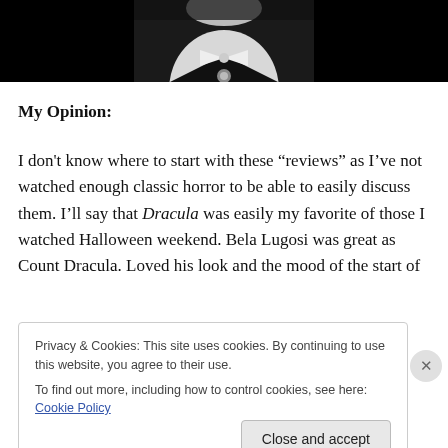[Figure (photo): Black and white photo of a man in formal attire with a bow tie, cropped to show torso and lower face, dark background]
My Opinion:
I don't know where to start with these “reviews” as I’ve not watched enough classic horror to be able to easily discuss them. I’ll say that Dracula was easily my favorite of those I watched Halloween weekend. Bela Lugosi was great as Count Dracula. Loved his look and the mood of the start of
Privacy & Cookies: This site uses cookies. By continuing to use this website, you agree to their use.
To find out more, including how to control cookies, see here: Cookie Policy